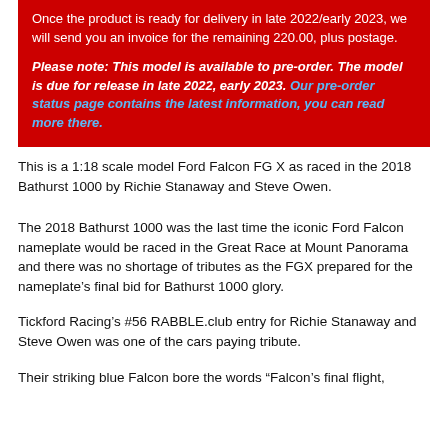Once the product is ready for delivery in late 2022/early 2023, we will send you an invoice for the remaining 220.00, plus postage.
Please note: This model is available to pre-order. The model is due for release in late 2022, early 2023. Our pre-order status page contains the latest information, you can read more there.
This is a 1:18 scale model Ford Falcon FG X as raced in the 2018 Bathurst 1000 by Richie Stanaway and Steve Owen.
The 2018 Bathurst 1000 was the last time the iconic Ford Falcon nameplate would be raced in the Great Race at Mount Panorama and there was no shortage of tributes as the FGX prepared for the nameplate's final bid for Bathurst 1000 glory.
Tickford Racing's #56 RABBLE.club entry for Richie Stanaway and Steve Owen was one of the cars paying tribute.
Their striking blue Falcon bore the words “Falcon’s final flight,